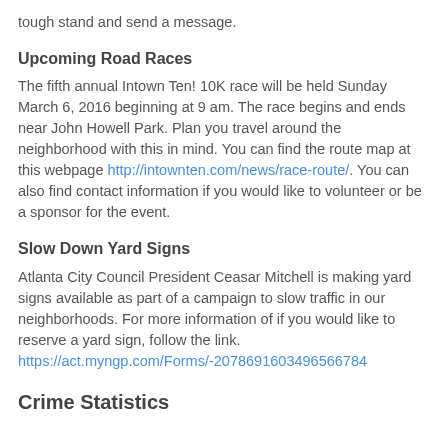tough stand and send a message.
Upcoming Road Races
The fifth annual Intown Ten! 10K race will be held Sunday March 6, 2016 beginning at 9 am. The race begins and ends near John Howell Park. Plan you travel around the neighborhood with this in mind. You can find the route map at this webpage http://intownten.com/news/race-route/. You can also find contact information if you would like to volunteer or be a sponsor for the event.
Slow Down Yard Signs
Atlanta City Council President Ceasar Mitchell is making yard signs available as part of a campaign to slow traffic in our neighborhoods. For more information of if you would like to reserve a yard sign, follow the link. https://act.myngp.com/Forms/-2078691603496566784
Crime Statistics